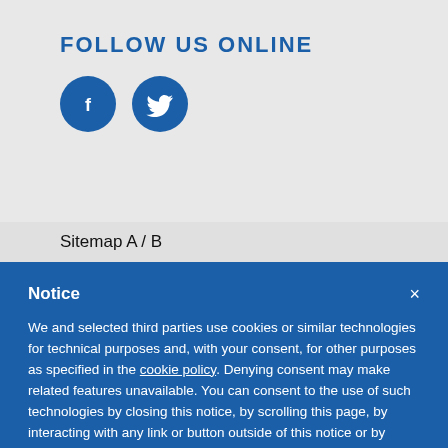FOLLOW US ONLINE
[Figure (illustration): Two circular social media icon buttons: Facebook (f) and Twitter (bird icon), both dark blue on light grey background]
Sitemap A / B
Notice
We and selected third parties use cookies or similar technologies for technical purposes and, with your consent, for other purposes as specified in the cookie policy. Denying consent may make related features unavailable. You can consent to the use of such technologies by closing this notice, by scrolling this page, by interacting with any link or button outside of this notice or by continuing to browse otherwise.